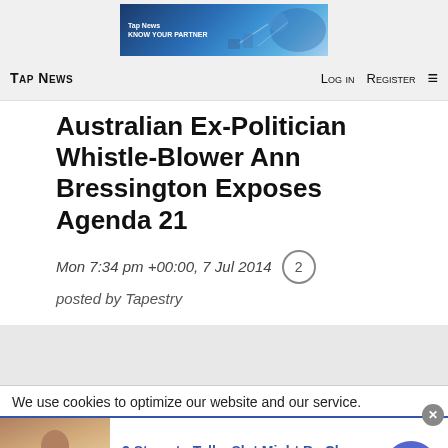[Figure (screenshot): Tap News website banner/logo image with blue gradient background and silhouetted figures]
TAP NEWS    LOG IN    REGISTER    ≡
Australian Ex-Politician Whistle-Blower Ann Bressington Exposes Agenda 21
Mon 7:34 pm +00:00, 7 Jul 2014  [2 comments]
posted by Tapestry
We use cookies to optimize our website and our service.
[Figure (photo): Ad thumbnail showing a person wearing a beige jacket with a lanyard, at what appears to be a casino]
3 Steps to Tell a Slot Might Be Close to
n/a